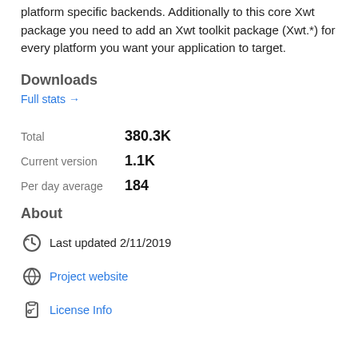platform specific backends. Additionally to this core Xwt package you need to add an Xwt toolkit package (Xwt.*) for every platform you want your application to target.
Downloads
Full stats →
Total   380.3K
Current version   1.1K
Per day average   184
About
Last updated 2/11/2019
Project website
License Info